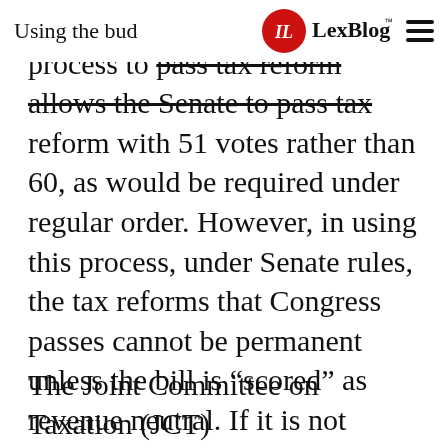LexBlog
Using the budget reconciliation process to pass tax reform allows the Senate to pass tax reform with 51 votes rather than 60, as would be required under regular order. However, in using this process, under Senate rules, the tax reforms that Congress passes cannot be permanent unless the bill is “scored” as revenue neutral. If it is not scored revenue neutral, the tax cuts will expire after ten years. Having the tax cuts be permanent is important to the economy because it gives businesses and financial markets certainty, which will facilitate robust long-term growth.
The Joint Committee on Taxation (JCT)